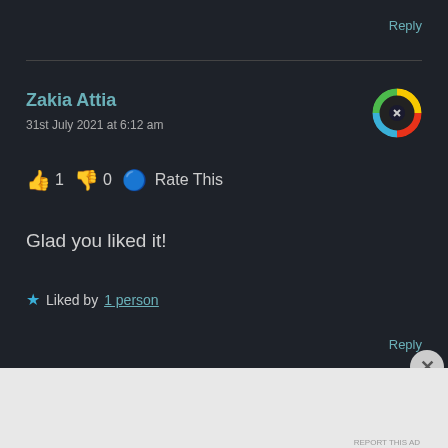Reply
Zakia Attia
31st July 2021 at 6:12 am
👍 1 👎 0 🔵 Rate This
Glad you liked it!
★ Liked by 1 person
Reply
No comments
Build a writing habit. Post on the go.
GET THE APP